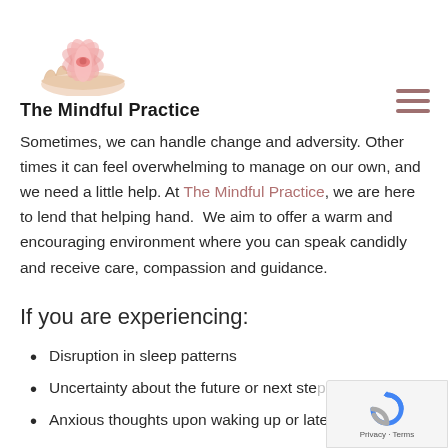The Mindful Practice
Sometimes, we can handle change and adversity. Other times it can feel overwhelming to manage on our own, and we need a little help. At The Mindful Practice, we are here to lend that helping hand.  We aim to offer a warm and encouraging environment where you can speak candidly and receive care, compassion and guidance.
If you are experiencing:
Disruption in sleep patterns
Uncertainty about the future or next steps
Anxious thoughts upon waking up or late at